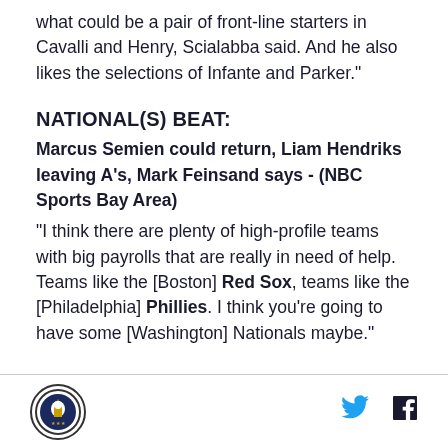what could be a pair of front-line starters in Cavalli and Henry, Scialabba said. And he also likes the selections of Infante and Parker."
NATIONAL(S) BEAT:
Marcus Semien could return, Liam Hendriks leaving A's, Mark Feinsand says - (NBC Sports Bay Area)
"I think there are plenty of high-profile teams with big payrolls that are really in need of help. Teams like the [Boston] Red Sox, teams like the [Philadelphia] Phillies. I think you're going to have some [Washington] Nationals maybe."
Logo | Twitter | Facebook